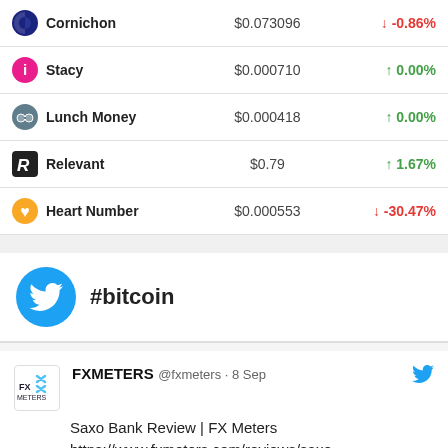| Name | Price | Change |
| --- | --- | --- |
| Cornichon | $0.073096 | ↓ -0.86% |
| Stacy | $0.000710 | ↑ 0.00% |
| Lunch Money | $0.000418 | ↑ 0.00% |
| Relevant | $0.79 | ↑ 1.67% |
| Heart Number | $0.000553 | ↓ -30.47% |
#bitcoin
FXMETERS @fxmeters · 8 Sep — Saxo Bank Review | FX Meters https://www.fxmeters.com/reviews/saxo-bank-review/?utm_sourc… #trading #ethereum #bitcoin #forex #ethereum #crypto #cryptocurrency #forextrading